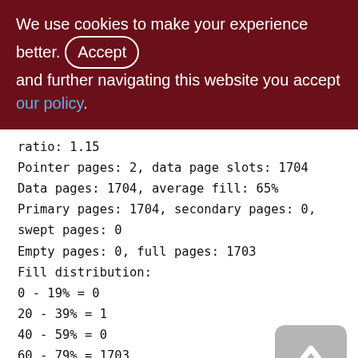We use cookies to make your experience better. By accepting and further navigating this website you accept our policy.
ratio: 1.15
Pointer pages: 2, data page slots: 1704
Data pages: 1704, average fill: 65%
Primary pages: 1704, secondary pages: 0, swept pages: 0
Empty pages: 0, full pages: 1703
Fill distribution:
0 - 19% = 0
20 - 39% = 1
40 - 59% = 0
60 - 79% = 1703
80 - 99% = 0